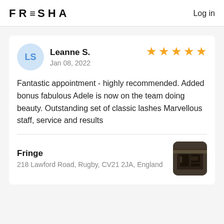FRESHA | Log in
Leanne S.
Jan 08, 2022
[Figure (other): 5 gold star rating]
Fantastic appointment - highly recommended. Added bonus fabulous Adele is now on the team doing beauty. Outstanding set of classic lashes Marvellous staff, service and results
Fringe
218 Lawford Road, Rugby, CV21 2JA, England
[Figure (photo): Thumbnail photo of Fringe salon storefront]